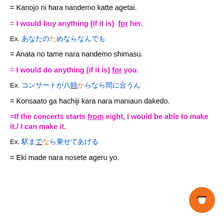= Kanojo ni nara nandemo katte agetai.
= I would buy anything (if it is) for her.
Ex. [Japanese text]
= Anata no tame nara nandemo shimasu.
= I would do anything (if it is) for you.
Ex. [Japanese text]
= Konsaato ga hachiji kara nara maniaun dakedo.
=If the concerts starts from eight, I would be able to make it./ I can make it.
Ex. [Japanese text]
= Eki made nara nosete ageru yo.